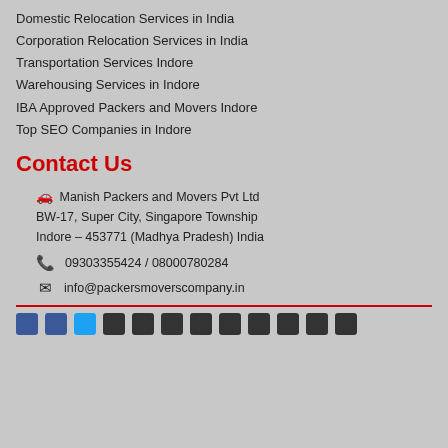Domestic Relocation Services in India
Corporation Relocation Services in India
Transportation Services Indore
Warehousing Services in Indore
IBA Approved Packers and Movers Indore
Top SEO Companies in Indore
Contact Us
Manish Packers and Movers Pvt Ltd
BW-17, Super City, Singapore Township
Indore – 453771 (Madhya Pradesh) India
09303355424 / 08000780284
info@packersmoverscompany.in